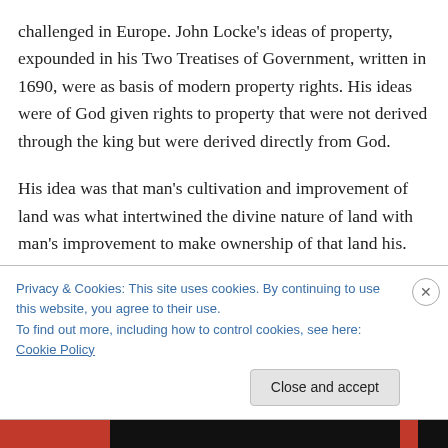challenged in Europe. John Locke's ideas of property, expounded in his Two Treatises of Government, written in 1690, were as basis of modern property rights. His ideas were of God given rights to property that were not derived through the king but were derived directly from God.
His idea was that man's cultivation and improvement of land was what intertwined the divine nature of land with man's improvement to make ownership of that land his. Locke's ideas that land use must be in accordance with God's permissible use of land were then developed into
Privacy & Cookies: This site uses cookies. By continuing to use this website, you agree to their use.
To find out more, including how to control cookies, see here: Cookie Policy
Close and accept